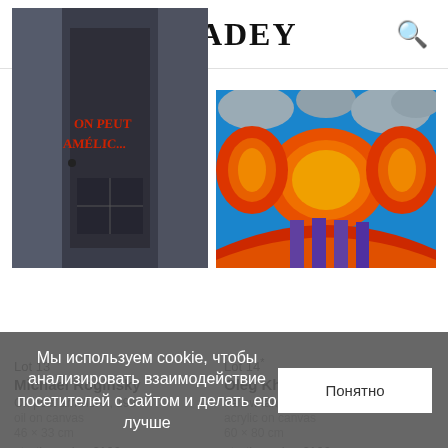VLADEY
[Figure (photo): Dark painting showing a door/gate with red text 'ON PEUT AMELIORER' painted on it, circa 1994]
[Figure (photo): Colorful abstract painting showing orange/red gradient rounded tree-like shapes with purple trunks against a blue sky with grey cloud-like forms, Yellow landscape 2016]
Lot 13*
Michael Roginsky
On peut améliorer, 1994
oil on canvas
46 × 33 cm
starting price €100
Lot 14*
Oleg Khvostov
Yellow landscape, 2016
acrylic on canvas
60 × 80 cm
starting price €100
Мы используем cookie, чтобы анализировать взаимодействие посетителей с сайтом и делать его лучше